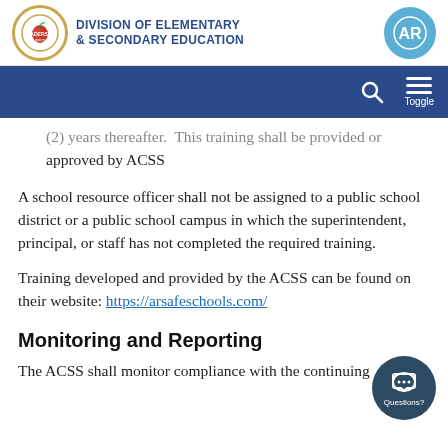Division of Elementary & Secondary Education
(2) years thereafter. This training shall be provided or approved by ACSS
A school resource officer shall not be assigned to a public school district or a public school campus in which the superintendent, principal, or staff has not completed the required training.
Training developed and provided by the ACSS can be found on their website: https://arsafeschools.com/
Monitoring and Reporting
The ACSS shall monitor compliance with the continuing